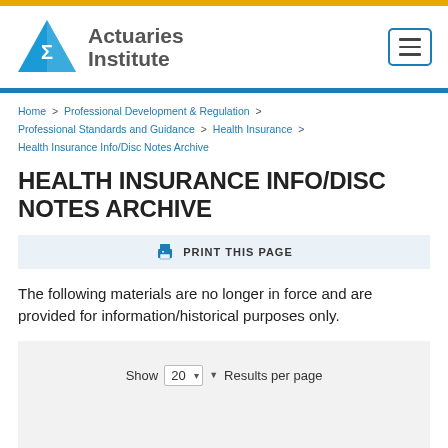Actuaries Institute
Home > Professional Development & Regulation > Professional Standards and Guidance > Health Insurance > Health Insurance Info/Disc Notes Archive
HEALTH INSURANCE INFO/DISC NOTES ARCHIVE
PRINT THIS PAGE
The following materials are no longer in force and are provided for information/historical purposes only.
Show 20 Results per page